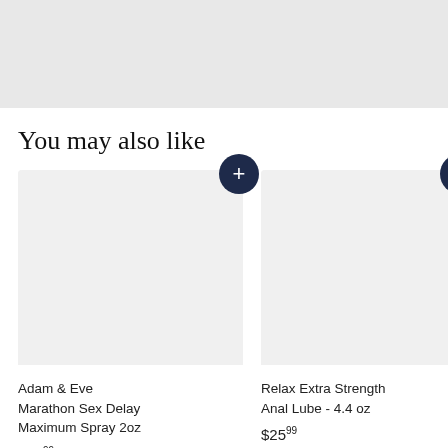[Figure (other): Gray header/banner area at top of page]
You may also like
[Figure (other): Product card for Adam & Eve Marathon Sex Delay Maximum Spray 2oz, price $19.99, with dark navy add-to-cart plus button]
Adam & Eve Marathon Sex Delay Maximum Spray 2oz
$19.99
[Figure (other): Product card for Relax Extra Strength Anal Lube - 4.4 oz, price $25.99, with dark navy add-to-cart plus button]
Relax Extra Strength Anal Lube - 4.4 oz
$25.99
[Figure (other): Partially visible product card for Stud Genital..., price $18.99]
Stud Genitl...
$18.99